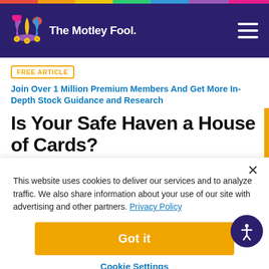The Motley Fool
FREE ARTICLE  Join Over 1 Million Premium Members And Get More In-Depth Stock Guidance and Research
Is Your Safe Haven a House of Cards?
This website uses cookies to deliver our services and to analyze traffic. We also share information about your use of our site with advertising and other partners. Privacy Policy
Got it
Cookie Settings